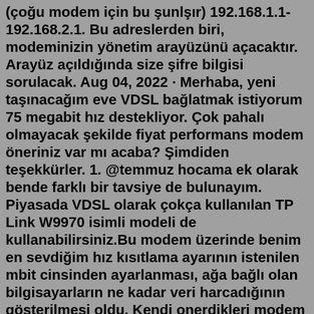(çoğu modem için bu şunlşır) 192.168.1.1- 192.168.2.1. Bu adreslerden biri, modeminizin yönetim arayüzünü açacaktır. Arayüz açıldığında size şifre bilgisi sorulacak. Aug 04, 2022 · Merhaba, yeni taşınacağım eve VDSL bağlatmak istiyorum 75 megabit hız destekliyor. Çok pahalı olmayacak şekilde fiyat performans modem öneriniz var mı acaba? Şimdiden teşekkürler. 1. @temmuz hocama ek olarak bende farklı bir tavsiye de bulunayım. Piyasada VDSL olarak çokça kullanılan TP Link W9970 isimli modeli de kullanabilirsiniz.Bu modem üzerinde benim en sevdiğim hız kısıtlama ayarının istenilen mbit cinsinden ayarlanması, ağa bağlı olan bilgisayarların ne kadar veri harcadığının gösterilmesi oldu. Kendi onerdikleri modem için peşin 324tl istendi. İkinci el olarak aşağıdakileri buldum; Türk Telekom tplink td-w 9970 150tl Vodafone vdsl2 uyumlu modem 50 TL Zyxel vmg1312 160tl Sıfır olarak; Asus DSL-N16 300Mbps 289 TL Hangi modemi almalıyım yada siz modem önerisi yaparmisiniz..Sep 27, 2021 · Oyun için modem önerisi ekstra bir önem taşır çünkü en küçük